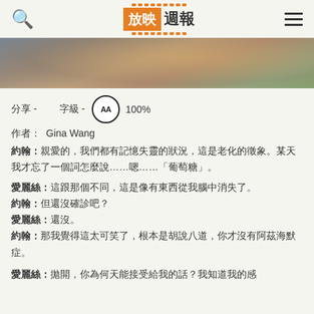放映週報
[Figure (photo): Partial photo of a person with long reddish-brown hair, cropped at top of page]
分享 - 　字級 - AA 100%
作者： Gina Wang
約翰：親愛的，我們都有記憶失靈的狀況，這是老化的徵象。某天我才忘了一個詞怎麼說……嗯……「葡萄糖」。
愛麗絲：這跟那個不同，這是像有東西從我腦中消失了。
約翰：但還沒確診吧？
愛麗絲：還沒。
約翰：那我覺得這太可笑了，根本是胡說八道，你才沒有阿茲海默症。
愛麗絲：拋開，你為何天能接受給我的話？我知道我的感